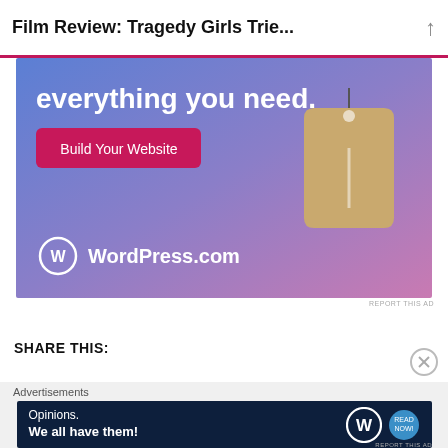Film Review: Tragedy Girls Trie...
[Figure (screenshot): WordPress.com advertisement with blue-to-pink gradient background, text 'everything you need.', pink 'Build Your Website' button, price tag graphic, and WordPress.com logo]
REPORT THIS AD
SHARE THIS:
[Figure (screenshot): WordPress.com advertisement with dark navy background, text 'Opinions. We all have them!' and WordPress.com logos]